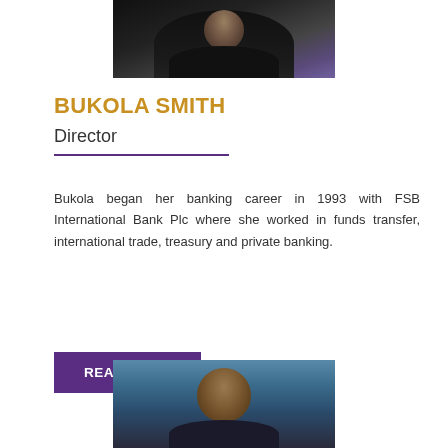[Figure (photo): Top portion of a person wearing a dark suit with purple/blue tie, photo cropped at chest level]
BUKOLA SMITH
Director
Bukola began her banking career in 1993 with FSB International Bank Plc where she worked in funds transfer, international trade, treasury and private banking.
READ MORE
[Figure (photo): Headshot of a bald man with dark complexion, photographed against a dark blue background, photo cropped at shoulder level]